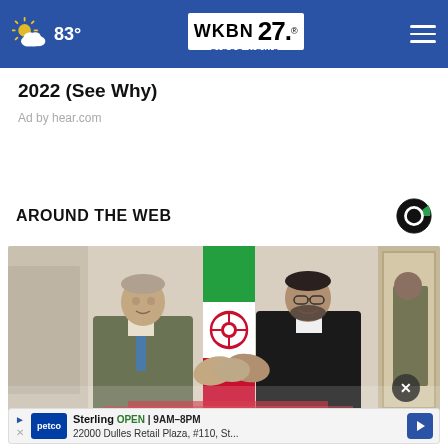83° WKBN FIRST NEWS 27
2022 (See Why)
Ad by hear.com
AROUND THE WEB
[Figure (photo): Two men in formal attire shaking hands in front of an Iranian flag in an ornate room. A third person is visible in the background. The scene appears to be a diplomatic meeting.]
Sterling OPEN | 9AM–8PM 22000 Dulles Retail Plaza, #110, St...